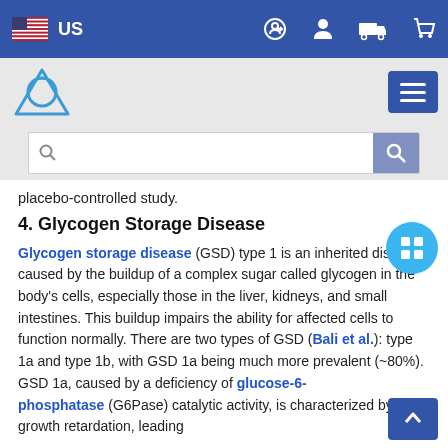US [navigation bar with flag, login, account, delivery, cart icons]
[Figure (logo): Trident/triangle logo and hamburger menu button on grey bar]
[Figure (screenshot): Search input bar with magnifying glass icon]
placebo-controlled study.
4. Glycogen Storage Disease
Glycogen storage disease (GSD) type 1 is an inherited disorder caused by the buildup of a complex sugar called glycogen in the body's cells, especially those in the liver, kidneys, and small intestines. This buildup impairs the ability for affected cells to function normally. There are two types of GSD (Bali et al.): type 1a and type 1b, with GSD 1a being much more prevalent (~80%). GSD 1a, caused by a deficiency of glucose-6-phosphatase (G6Pase) catalytic activity, is characterized by growth retardation, leading